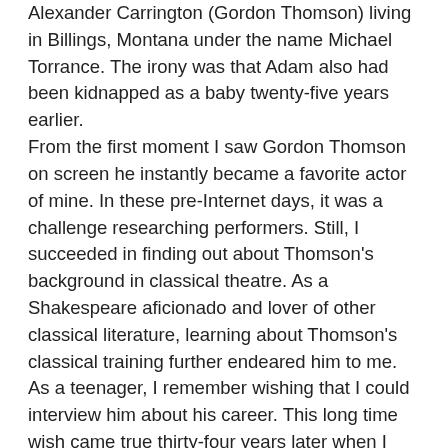Alexander Carrington (Gordon Thomson) living in Billings, Montana under the name Michael Torrance. The irony was that Adam also had been kidnapped as a baby twenty-five years earlier.
From the first moment I saw Gordon Thomson on screen he instantly became a favorite actor of mine. In these pre-Internet days, it was a challenge researching performers. Still, I succeeded in finding out about Thomson's background in classical theatre. As a Shakespeare aficionado and lover of other classical literature, learning about Thomson's classical training further endeared him to me.
As a teenager, I remember wishing that I could interview him about his career. This long time wish came true thirty-four years later when I had the privilege of interviewing Gordon Thomson for The Nerdy Girl Express in 2016.
Continue reading